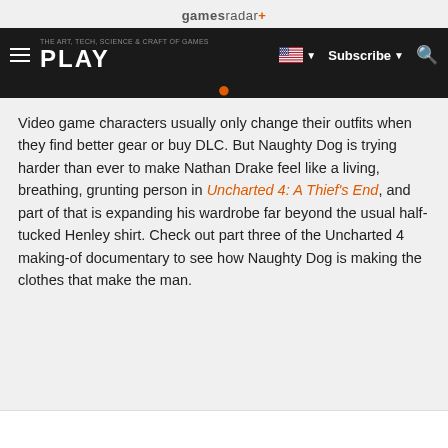gamesradar+
PLAY  Subscribe  Search
Video game characters usually only change their outfits when they find better gear or buy DLC. But Naughty Dog is trying harder than ever to make Nathan Drake feel like a living, breathing, grunting person in Uncharted 4: A Thief's End, and part of that is expanding his wardrobe far beyond the usual half-tucked Henley shirt. Check out part three of the Uncharted 4 making-of documentary to see how Naughty Dog is making the clothes that make the man.